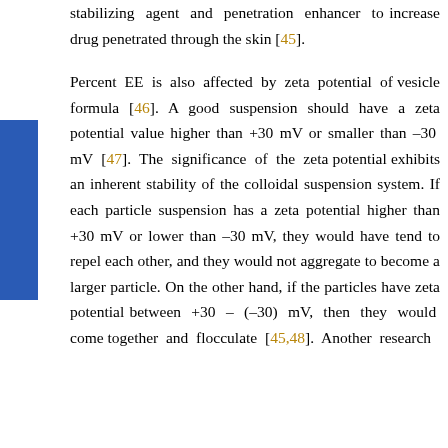stabilizing agent and penetration enhancer to increase drug penetrated through the skin [45].
Percent EE is also affected by zeta potential of vesicle formula [46]. A good suspension should have a zeta potential value higher than +30 mV or smaller than –30 mV [47]. The significance of the zeta potential exhibits an inherent stability of the colloidal suspension system. If each particle suspension has a zeta potential higher than +30 mV or lower than –30 mV, they would have tend to repel each other, and they would not aggregate to become a larger particle. On the other hand, if the particles have zeta potential between +30 – (–30) mV, then they would come together and flocculate [45,48]. Another research